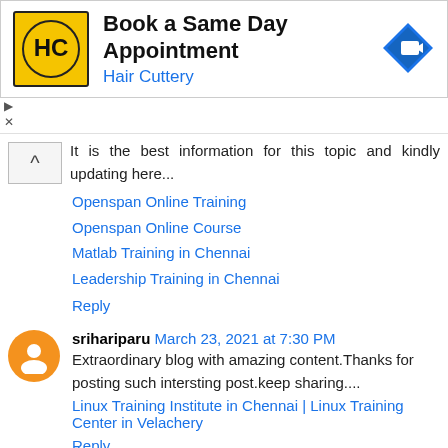[Figure (other): Hair Cuttery advertisement banner with logo showing HC letters on yellow background, text Book a Same Day Appointment, Hair Cuttery in blue, and a blue arrow road sign icon]
It is the best information for this topic and kindly updating here...
Openspan Online Training
Openspan Online Course
Matlab Training in Chennai
Leadership Training in Chennai
Reply
srihariparu March 23, 2021 at 7:30 PM
Extraordinary blog with amazing content.Thanks for posting such intersting post.keep sharing....
Linux Training Institute in Chennai | Linux Training Center in Velachery
Reply